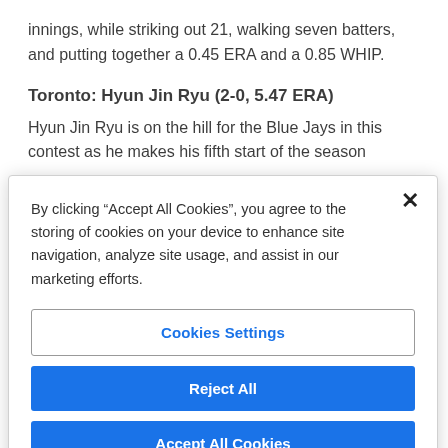innings, while striking out 21, walking seven batters, and putting together a 0.45 ERA and a 0.85 WHIP.
Toronto: Hyun Jin Ryu (2-0, 5.47 ERA)
Hyun Jin Ryu is on the hill for the Blue Jays in this contest as he makes his fifth start of the season
By clicking “Accept All Cookies”, you agree to the storing of cookies on your device to enhance site navigation, analyze site usage, and assist in our marketing efforts.
Cookies Settings
Reject All
Accept All Cookies